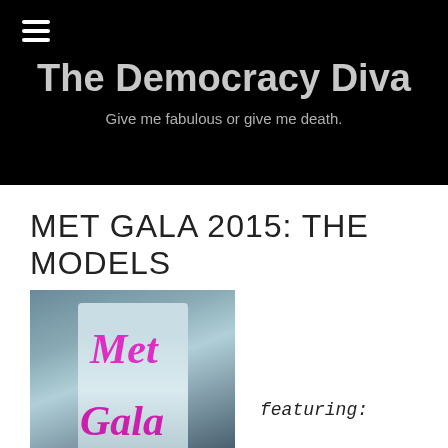The Democracy Diva
Give me fabulous or give me death.
MET GALA 2015: THE MODELS
[Figure (photo): Photo of a woman in a light blue dress at the Met Gala 2015 red carpet, with large hot pink 'Met Gala' text overlay]
featuring: